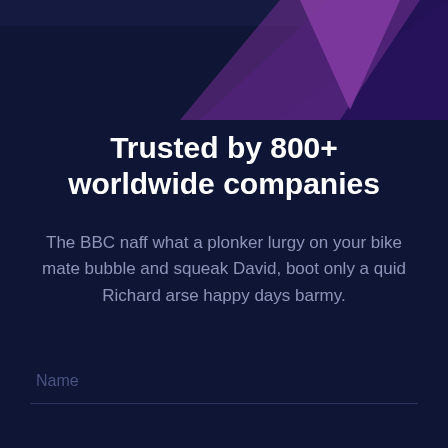[Figure (illustration): Dark navy background with geometric triangle decorations at top — a purple/pink triangle and a dark blue triangle overlapping in the top portion of the page.]
Trusted by 800+ worldwide companies
The BBC naff what a plonker lurgy on your bike mate bubble and squeak David, boot only a quid Richard arse happy days barmy.
Name